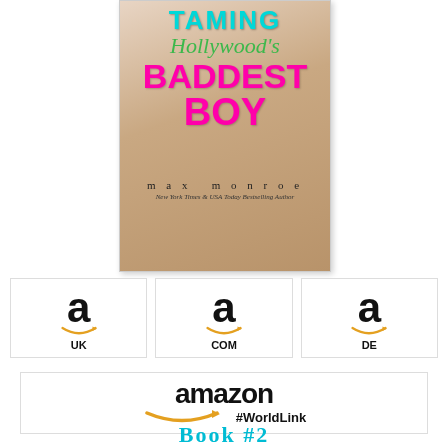[Figure (illustration): Book cover for 'Taming Hollywood's Baddest Boy' by max monroe, New York Times & USA Today Bestselling Author. Title text in teal, green italic, and magenta pink over a photo of a shirtless man.]
[Figure (logo): Three Amazon logo boxes side by side: Amazon UK, Amazon COM, Amazon DE]
[Figure (logo): Amazon #WorldLink logo in a wide box]
Book #2